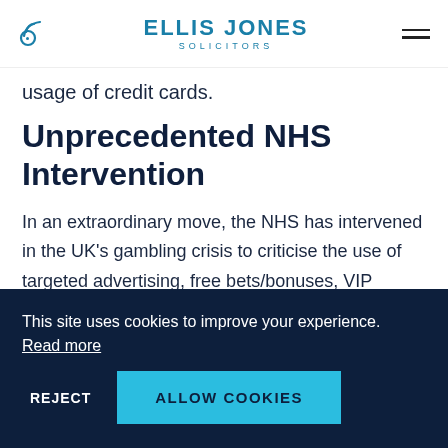Ellis Jones Solicitors
usage of credit cards.
Unprecedented NHS Intervention
In an extraordinary move, the NHS has intervened in the UK's gambling crisis to criticise the use of targeted advertising, free bets/bonuses, VIP
This site uses cookies to improve your experience. Read more
REJECT   ALLOW COOKIES